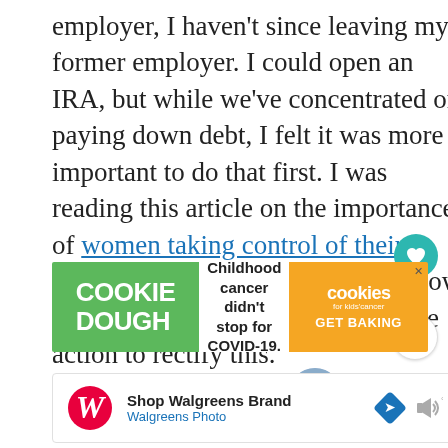employer, I haven't since leaving my former employer. I could open an IRA, but while we've concentrated on paying down debt, I felt it was more important to do that first. I was reading this article on the importance of women taking control of their financial future, and realized just how important it is that I take immediate action to rectify this.
[Figure (infographic): Cookie Dough advertisement: green left panel with 'COOKIE DOUGH' text, white middle panel 'Childhood cancer didn't stop for COVID-19.', orange right panel with cookies for kids' cancer logo and 'GET BAKING']
[Figure (infographic): What's Next navigation element with circular thumbnail of a person outdoors and text 'The Importance ...']
[Figure (infographic): Walgreens advertisement: 'Shop Walgreens Brand / Walgreens Photo' with Walgreens logo, navigation arrow icon, and sound/volume icon]